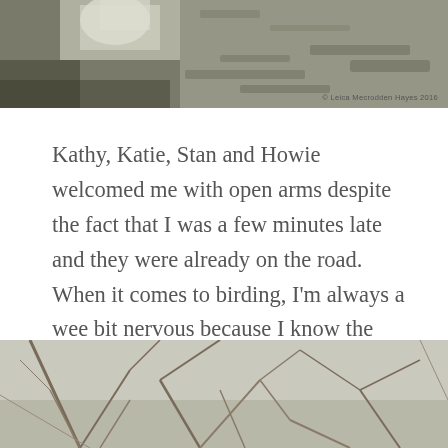[Figure (photo): Close-up photograph of lichen-covered rock or bark in grey and muted tones, with a small watermark credit in the lower right.]
Kathy, Katie, Stan and Howie welcomed me with open arms despite the fact that I was a few minutes late and they were already on the road. When it comes to birding, I'm always a wee bit nervous because I know the winter species at my feeding station like Black-capped Chickadees, but am not so great with others. This group, however, likes to joke and laugh, thus making the day a pleasure even in the cold wind.
[Figure (photo): Photograph of bare winter tree branches against a pale sky, in muted grey-brown tones.]